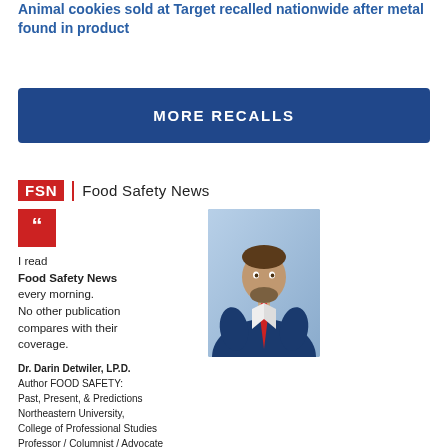Animal cookies sold at Target recalled nationwide after metal found in product
MORE RECALLS
[Figure (logo): FSN Food Safety News logo with red badge and divider]
I read Food Safety News every morning. No other publication compares with their coverage. Dr. Darin Detwiler, LP.D. Author FOOD SAFETY: Past, Present, & Predictions Northeastern University, College of Professional Studies Professor / Columnist / Advocate